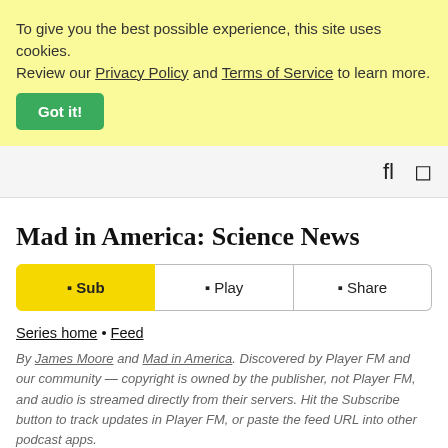To give you the best possible experience, this site uses cookies. Review our Privacy Policy and Terms of Service to learn more. Got it!
fl  □
Mad in America: Science News
□ Sub   □ Play   □ Share
Series home • Feed
By James Moore and Mad in America. Discovered by Player FM and our community — copyright is owned by the publisher, not Player FM, and audio is streamed directly from their servers. Hit the Subscribe button to track updates in Player FM, or paste the feed URL into other podcast apps.